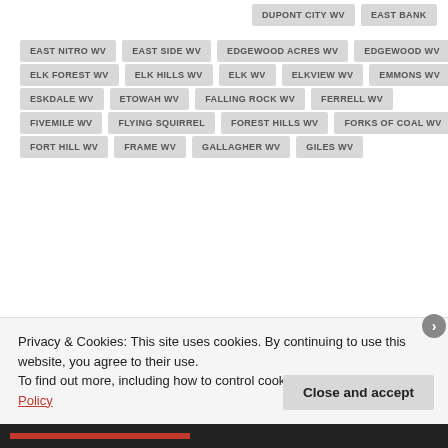DUPONT CITY WV
EAST BANK
EAST NITRO WV
EAST SIDE WV
EDGEWOOD ACRES WV
EDGEWOOD WV
ELK FOREST WV
ELK HILLS WV
ELK WV
ELKVIEW WV
EMMONS WV
ESKDALE WV
ETOWAH WV
FALLING ROCK WV
FERRELL WV
FIVEMILE WV
FLYING SQUIRREL
FOREST HILLS WV
FORKS OF COAL WV
FORT HILL WV
FRAME WV
GALLAGHER WV
GILES WV
Privacy & Cookies: This site uses cookies. By continuing to use this website, you agree to their use.
To find out more, including how to control cookies, see here: Cookie Policy
Close and accept